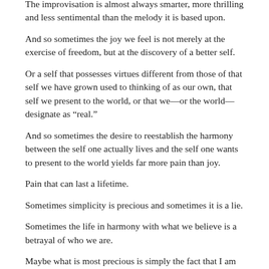The improvisation is almost always smarter, more thrilling and less sentimental than the melody it is based upon.
And so sometimes the joy we feel is not merely at the exercise of freedom, but at the discovery of a better self.
Or a self that possesses virtues different from those of that self we have grown used to thinking of as our own, that self we present to the world, or that we—or the world—designate as “real.”
And so sometimes the desire to reestablish the harmony between the self one actually lives and the self one wants to present to the world yields far more pain than joy.
Pain that can last a lifetime.
Sometimes simplicity is precious and sometimes it is a lie.
Sometimes the life in harmony with what we believe is a betrayal of who we are.
Maybe what is most precious is simply the fact that I am breathing this clear, cold air, that I am in this valley beside this loud, racing, silt-paled river, watching bronze sunbeams tip over jagged, snow-laced peaks to light the mountainside just in front of me, and that this is all so extraordinarily vivid, vital and beautiful.